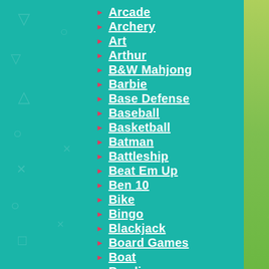Arcade
Archery
Art
Arthur
B&W Mahjong
Barbie
Base Defense
Baseball
Basketball
Batman
Battleship
Beat Em Up
Ben 10
Bike
Bingo
Blackjack
Board Games
Boat
Bowling